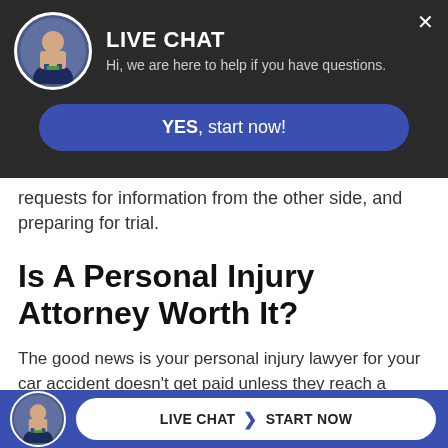[Figure (screenshot): Live chat overlay widget with avatar, title LIVE CHAT, subtitle text, and YES start now button on dark background]
requests for information from the other side, and preparing for trial.
Is A Personal Injury Attorney Worth It?
The good news is your personal injury lawyer for your car accident doesn't get paid unless they reach a settlement or jury verdict for you. Our experience has shown us that even after your attorney fee, you will do better with a personal injur[y lawyer th...]ur
[Figure (screenshot): Bottom live chat bar with avatar, LIVE CHAT chevron START NOW button on blue background]